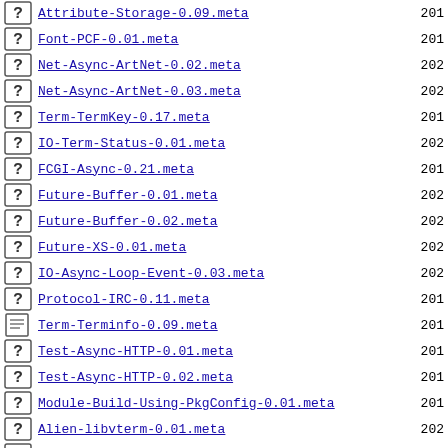Attribute-Storage-0.09.meta 201
Font-PCF-0.01.meta 201
Net-Async-ArtNet-0.02.meta 202
Net-Async-ArtNet-0.03.meta 202
Term-TermKey-0.17.meta 201
IO-Term-Status-0.01.meta 202
FCGI-Async-0.21.meta 201
Future-Buffer-0.01.meta 202
Future-Buffer-0.02.meta 202
Future-XS-0.01.meta 202
IO-Async-Loop-Event-0.03.meta 202
Protocol-IRC-0.11.meta 201
Term-Terminfo-0.09.meta 201
Test-Async-HTTP-0.01.meta 201
Test-Async-HTTP-0.02.meta 201
Module-Build-Using-PkgConfig-0.01.meta 201
Alien-libvterm-0.01.meta 202
Alien-libvterm-0.02.meta 202